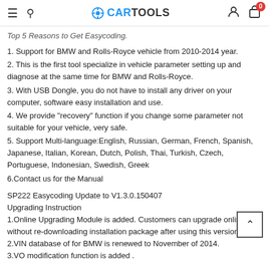CARTOOLS
Top 5 Reasons to Get Easycoding.
1. Support for BMW and Rolls-Royce vehicle from 2010-2014 year.
2. This is the first tool specialize in vehicle parameter setting up and diagnose at the same time for BMW and Rolls-Royce.
3. With USB Dongle, you do not have to install any driver on your computer, software easy installation and use.
4. We provide "recovery" function if you change some parameter not suitable for your vehicle, very safe.
5. Support Multi-language:English, Russian, German, French, Spanish, Japanese, Italian, Korean, Dutch, Polish, Thai, Turkish, Czech, Portuguese, Indonesian, Swedish, Greek
6.Contact us for the Manual
SP222 Easycoding Update to V1.3.0.150407
Upgrading Instruction
1.Online Upgrading Module is added. Customers can upgrade online without re-downloading installation package after using this version.
2.VIN database of for BMW is renewed to November of 2014.
3.VO modification function is added .